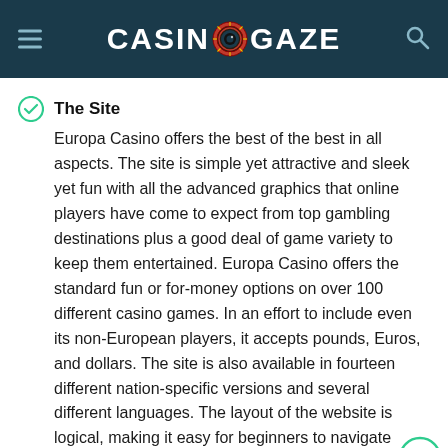CASINOGAZE
The Site
Europa Casino offers the best of the best in all aspects. The site is simple yet attractive and sleek yet fun with all the advanced graphics that online players have come to expect from top gambling destinations plus a good deal of game variety to keep them entertained. Europa Casino offers the standard fun or for-money options on over 100 different casino games. In an effort to include even its non-European players, it accepts pounds, Euros, and dollars. The site is also available in fourteen different nation-specific versions and several different languages. The layout of the website is logical, making it easy for beginners to navigate while allowing returning